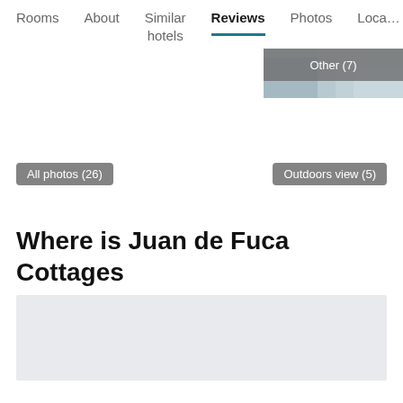Rooms | About | Similar hotels | Reviews | Photos | Loca…
[Figure (photo): Partial photo visible in top-right with label 'Other (7)' overlay badge, showing a winter/outdoor scene]
All photos (26)
Outdoors view (5)
Where is Juan de Fuca Cottages
[Figure (map): Light grey map placeholder area at the bottom of the page]